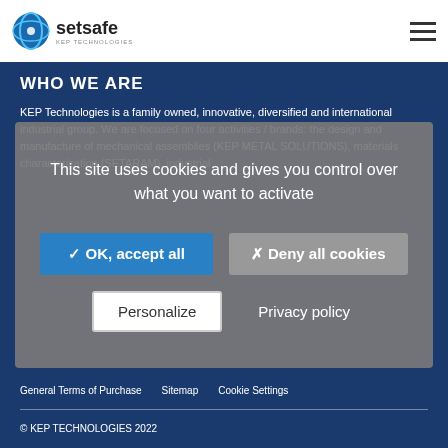setsafe
WHO WE ARE
KEP Technologies is a family owned, innovative, diversified and international industrial group. We are focused on four activities / brands: the design and manufacture of mechanical assemblies (KEP METAL SOLUTIONS), materials characterization (SETARAM), industrial...
This site uses cookies and gives you control over what you want to activate
✓ OK, accept all
✗ Deny all cookies
Personalize
Privacy policy
General Terms of Purchase   Sitemap   Cookie Settings
© KEP TECHNOLOGIES 2022